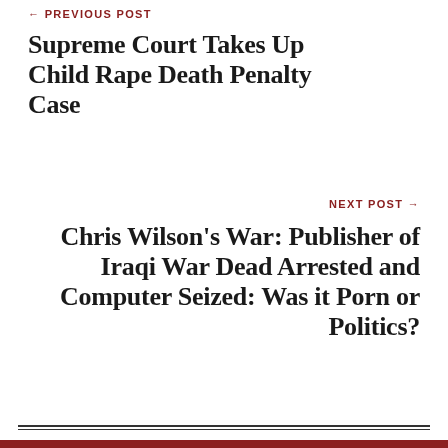← PREVIOUS POST
Supreme Court Takes Up Child Rape Death Penalty Case
NEXT POST →
Chris Wilson's War: Publisher of Iraqi War Dead Arrested and Computer Seized: Was it Porn or Politics?